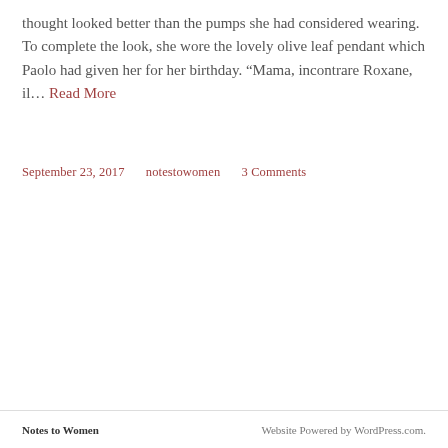thought looked better than the pumps she had considered wearing.  To complete the look, she wore the lovely olive leaf pendant which Paolo had given her for her birthday. “Mama, incontrare Roxane, il… Read More
September 23, 2017   notestowomen   3 Comments
[Figure (other): Search box with magnifying glass icon and placeholder text 'Search ...']
Notes to Women    Website Powered by WordPress.com.